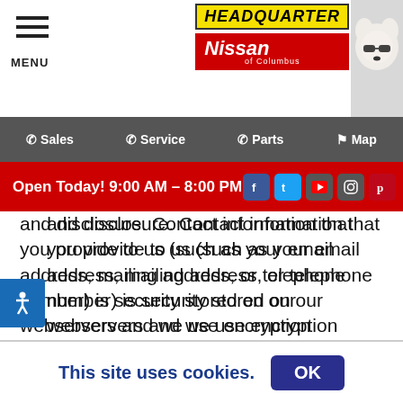HEADQUARTER Nissan of Columbus
MENU | Sales | Service | Parts | Map
Open Today! 9:00 AM – 8:00 PM
and disclosure.  Contact information that you provide to us (such as your email address, mailing address, or telephone number) is security stored on our webservers and we use encryption technologies for payment and financial information.
But the safety and security of your information also depends on you. Where we have given you (or where you have chosen) a password for access to
This site uses cookies.
OK